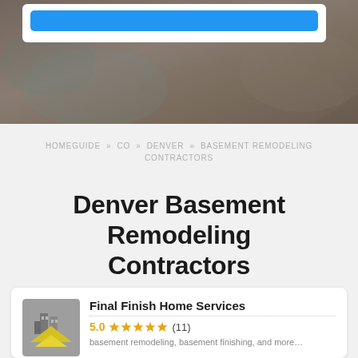[Figure (screenshot): Hero background image showing a blurred interior/bedding scene with a white search box overlay containing a blue button, and a dark overlay tint]
HOMEGUIDE » CO » DENVER » BASEMENT REMODELING CONTRACTORS
Denver Basement Remodeling Contractors
[Figure (logo): Final Finish Home Services logo: gray and yellow building/house icon]
Final Finish Home Services
5.0 ★★★★★ (11)